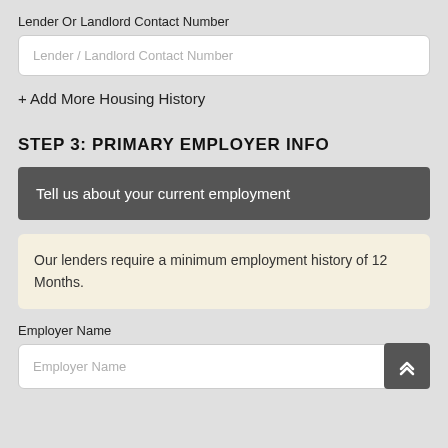Lender Or Landlord Contact Number
Lender / Landlord Contact Number
+ Add More Housing History
STEP 3: PRIMARY EMPLOYER INFO
Tell us about your current employment
Our lenders require a minimum employment history of 12 Months.
Employer Name
Employer Name